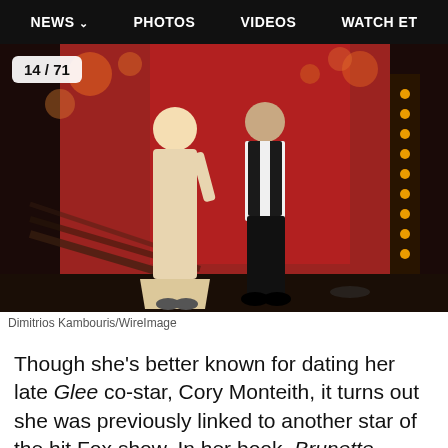NEWS  PHOTOS  VIDEOS  WATCH ET
[Figure (photo): Two people standing on a stage: a woman in a long cream/champagne dress with her arm around a man in a black vest and white shirt with dark pants]
Dimitrios Kambouris/WireImage
Though she's better known for dating her late Glee co-star, Cory Monteith, it turns out she was previously linked to another star of the hit Fox show. In her book, Brunette Ambition